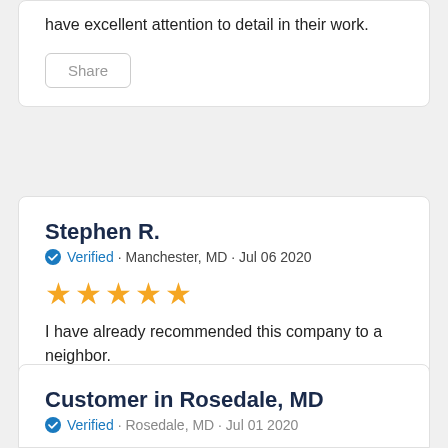have excellent attention to detail in their work.
Share
Stephen R.
Verified · Manchester, MD · Jul 06 2020
[Figure (other): 5 orange star rating icons]
I have already recommended this company to a neighbor.
Share
Customer in Rosedale, MD
Verified · Rosedale, MD · Jul 01 2020